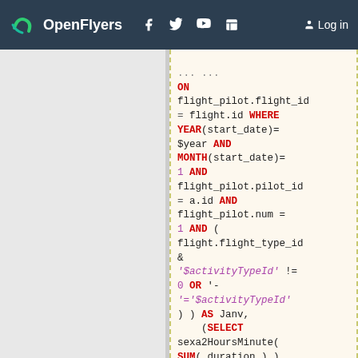OpenFlyers | Log in
SQL code block showing flight query with ON flight_pilot.flight_id = flight.id WHERE YEAR(start_date)= $year AND MONTH(start_date)= 1 AND flight_pilot.pilot_id = a.id AND flight_pilot.num = 1 AND ( flight.flight_type_id & '$activityTypeId' != 0 OR '-'='$activityTypeId' ) ) AS Janv, (SELECT sexa2HoursMinute( SUM( duration ) ) FROM flight INNER JOIN flight_pilot ON flight_pilot.flight_id = flight.id WHERE YEAR(start_date)=